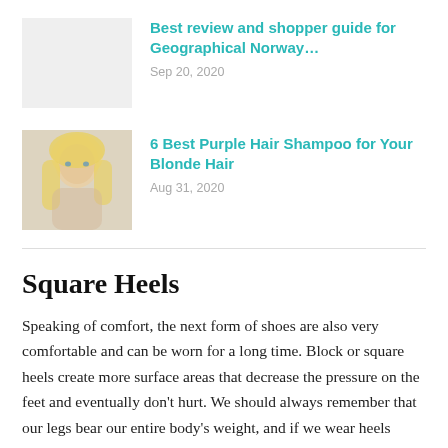[Figure (photo): Grey/white placeholder thumbnail for 'Best review and shopper guide for Geographical Norway...' article]
Best review and shopper guide for Geographical Norway…
Sep 20, 2020
[Figure (photo): Photo of a blonde woman for '6 Best Purple Hair Shampoo for Your Blonde Hair' article]
6 Best Purple Hair Shampoo for Your Blonde Hair
Aug 31, 2020
Square Heels
Speaking of comfort, the next form of shoes are also very comfortable and can be worn for a long time. Block or square heels create more surface areas that decrease the pressure on the feet and eventually don't hurt. We should always remember that our legs bear our entire body's weight, and if we wear heels regularly, it may result in sore ankles